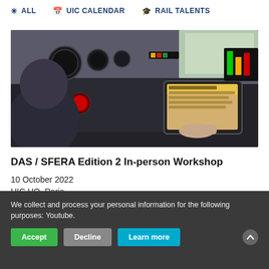All  UIC CALENDAR  RAIL TALENTS
[Figure (photo): Person sitting in a train cockpit/cab, operating controls and a tablet/screen on the dashboard. The cockpit interior shows various gauges, buttons, and a red emergency stop button.]
DAS / SFERA Edition 2 In-person Workshop
10 October 2022
UIC HQ, Paris
We collect and process your personal information for the following purposes: Youtube.